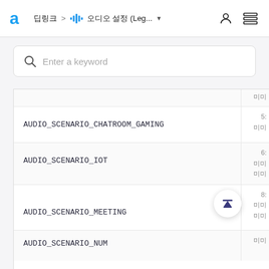딥링크 > 오디오 설정 (Leg... ▼
Enter a keyword
AUDIO_SCENARIO_CHATROOM_GAMING
AUDIO_SCENARIO_IOT
AUDIO_SCENARIO_MEETING
AUDIO_SCENARIO_NUM